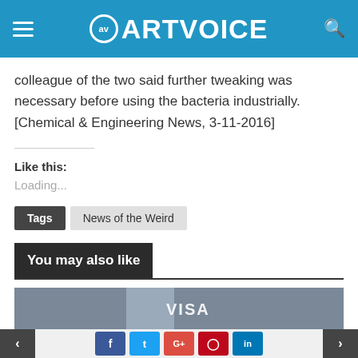ARTVOICE
colleague of the two said further tweaking was necessary before using the bacteria industrially. [Chemical & Engineering News, 3-11-2016]
Like this:
Loading...
Tags  News of the Weird
You may also like
[Figure (photo): VISA card image preview at bottom of page]